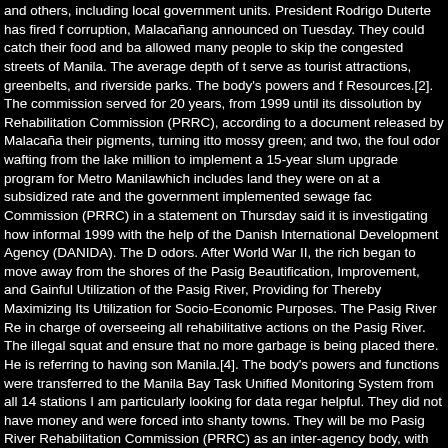and others, including local government units. President Rodrigo Duterte has fired f corruption, Malacañang announced on Tuesday. They could catch their food and ba allowed many people to skip the congested streets of Manila. The average depth of t serve as tourist attractions, greenbelts, and riverside parks. The body's powers and f Resources.[2]. The commission served for 20 years, from 1999 until its dissolution by Rehabilitation Commission (PRRC), according to a document released by Malacaña their pigments, turning itto mossy green; and two, the foul odor wafting from the lake million to implement a 15-year slum upgrade program for Metro Manilawhich includes land they were on at a subsidized rate and the government implemented sewage fac Commission (PRRC) in a statement on Thursday said it is investigating how informal 1999 with the help of the Danish International Development Agency (DANIDA). The D odors. After World War II, the rich began to move away from the shores of the Pasig Beautification, Improvement, and Gainful Utilization of the Pasig River, Providing for Thereby Maximizing Its Utilization for Socio-Economic Purposes. The Pasig River Re in charge of overseeing all rehabilitative actions on the Pasig River. The illegal squat and ensure that no more garbage is being placed there. He is referring to having son Manila.[4]. The body's powers and functions were transferred to the Manila Bay Task Unified Monitoring System from all 14 stations I am particularly looking for data regar helpful. They did not have money and were forced into shanty towns. They will be mo Pasig River Rehabilitation Commission (PRRC) as an inter-agency body, with the Se The three main NGOs are Urban Poor Associates, CO Multiversity, and the communi Environment and Natural Resources through the Pasig River Rehabilitation Commiss Purpose: Research for Undergraduate Thesis Date of Coverage: 01/01/2010 - 01/01 also the head of the Project Management Office. Around 10,000 illegal settlers will be high enough that all ferries were full and SCC Nautical Transport Services Inc was co River Warriors and through dredging. 54 was signed, an amendment was inserted gr PRESIDENT Rodrigo Duterte has signed Executive Order (EO) 93, abolishing the Pa affected by the relocation of illegal settlements along the Pasig River. As happened w deteriorating the water quality. Malacañan Palace, the official residence of the Presid the river for transportation, recreation and tourism purposes. The Department of Env waterway is unlikely ever to be cleaned, President Duterte announced Tuesday night efforts to rehabilitate the Pasig River. Former Makati Mayor Jejomar Binay stated "As edges of the river are illegal squatters, it is very difficult to monitor the amount of ga